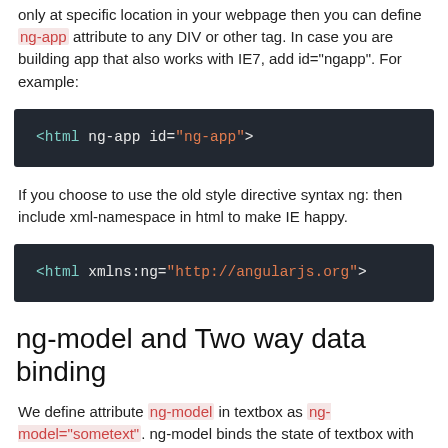only at specific location in your webpage then you can define ng-app attribute to any DIV or other tag. In case you are building app that also works with IE7, add id="ngapp". For example:
[Figure (screenshot): Code block showing: <html ng-app id="ng-app">]
If you choose to use the old style directive syntax ng: then include xml-namespace in html to make IE happy.
[Figure (screenshot): Code block showing: <html xmlns:ng="http://angularjs.org">]
ng-model and Two way data binding
We define attribute ng-model in textbox as ng-model="sometext". ng-model binds the state of textbox with model value. In our case we define a model sometext. This model value is bound with the value of textbox using ng-model attribute. Thus when the textbox value changes, Angular automatically changes the model sometext with